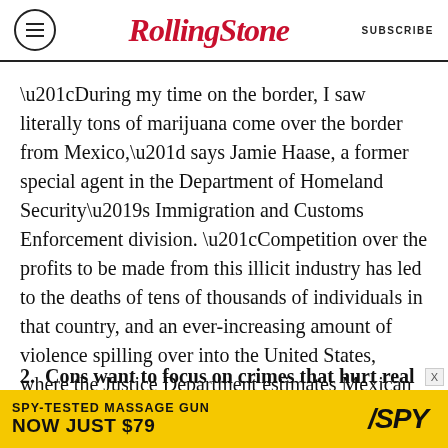RollingStone | SUBSCRIBE
“During my time on the border, I saw literally tons of marijuana come over the border from Mexico,” says Jamie Haase, a former special agent in the Department of Homeland Security’s Immigration and Customs Enforcement division. “Competition over the profits to be made from this illicit industry has led to the deaths of tens of thousands of individuals in that country, and an ever-increasing amount of violence spilling over into the United States, where the Justice Department estimates Mexican cartels now operate in more than 1,000 American cities.”
2. Cons want to focus on crimes that hurt real
[Figure (other): Advertisement banner: SPY-TESTED MASSAGE GUN NOW JUST $79 with SPY logo on yellow background]